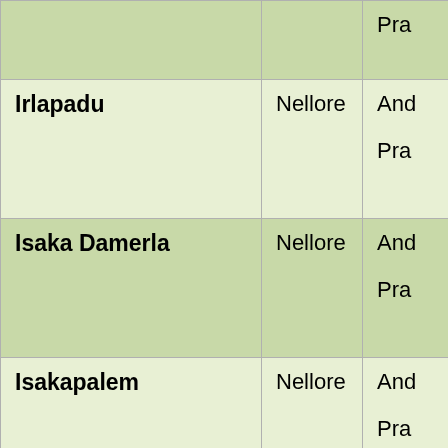| Name | District | State |
| --- | --- | --- |
|  |  | Pra... |
| Irlapadu | Nellore | And...
Pra... |
| Isaka Damerla | Nellore | And...
Pra... |
| Isakapalem | Nellore | And...
Pra... |
| Iskapalem | Nellore | And...
Pra... |
| Iskapalli | Nellore | And... |